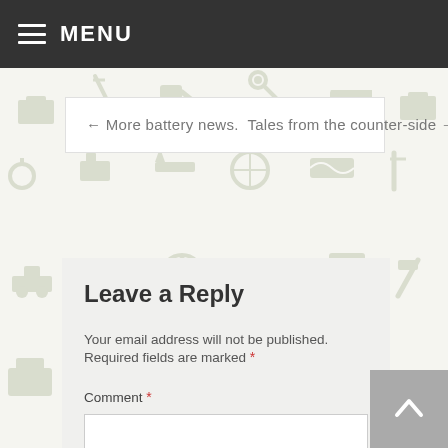MENU
← More battery news.  Tales from the counter-side →
Leave a Reply
Your email address will not be published. Required fields are marked *
Comment *